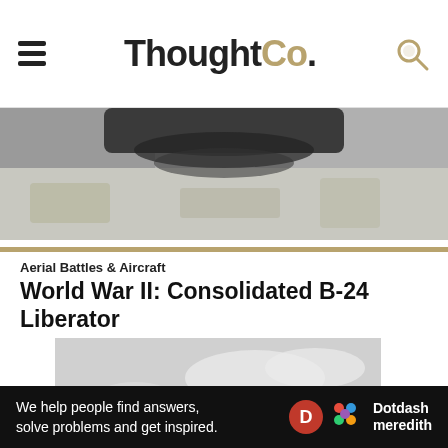ThoughtCo.
[Figure (photo): Black and white aerial photograph, close-up of bomber aircraft underside over landscape]
Aerial Battles & Aircraft
World War II: Consolidated B-24 Liberator
[Figure (photo): Black and white photo of B-24 Liberator bomber aircraft 'Bolivar Jr' in flight with clouds]
Ad
We help people find answers, solve problems and get inspired. Dotdash meredith